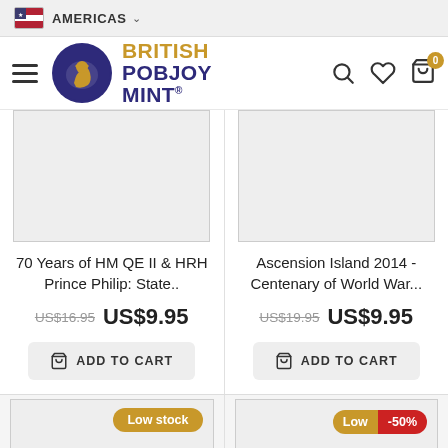AMERICAS | British Pobjoy Mint
70 Years of HM QE II & HRH Prince Philip: State..
US$16.95  US$9.95
ADD TO CART
Ascension Island 2014 - Centenary of World War...
US$19.95  US$9.95
ADD TO CART
[Figure (screenshot): Low stock badge on product card]
[Figure (screenshot): Low stock + -50% badge on product card]